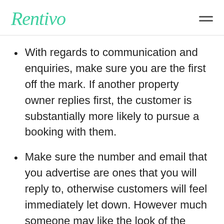Rentivo
With regards to communication and enquiries, make sure you are the first off the mark. If another property owner replies first, the customer is substantially more likely to pursue a booking with them.
Make sure the number and email that you advertise are ones that you will reply to, otherwise customers will feel immediately let down. However much someone may like the look of the property, they aren't going to want to have to chase you about staying